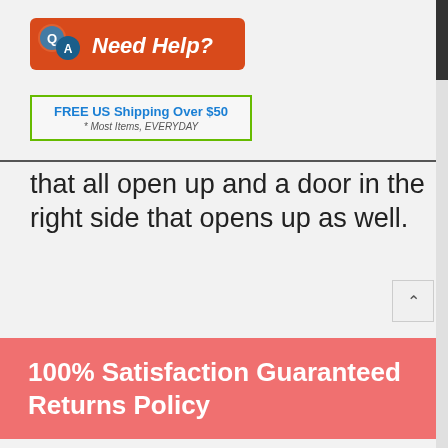[Figure (logo): Red banner with Q A speech bubble icon and 'Need Help?' text in white italic]
[Figure (infographic): Free US Shipping Over $50 banner with green border, blue bold text, and italic subtext '* Most Items, EVERYDAY']
that all open up and a door in the right side that opens up as well.
100% Satisfaction Guaranteed Returns Policy
We realize sometimes the miniatures you order are the wrong color, size or just not quite right for your dollhouse.